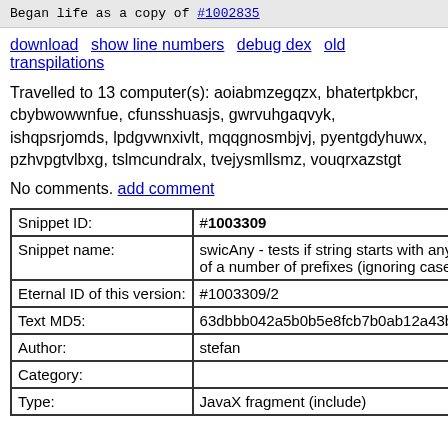Began life as a copy of #1002835
download  show line numbers  debug dex  old transpilations
Travelled to 13 computer(s): aoiabmzegqzx, bhatertpkbcr, cbybwowwnfue, cfunsshuasjs, gwrvuhgaqvyk, ishqpsrjomds, lpdgvwnxivlt, mqqgnosmbjvj, pyentgdyhuwx, pzhvpgtvlbxg, tslmcundralx, tvejysmllsmz, vouqrxazstgt
No comments. add comment
| Snippet ID: | #1003309 |
| Snippet name: | swicAny - tests if string starts with any of a number of prefixes (ignoring case) |
| Eternal ID of this version: | #1003309/2 |
| Text MD5: | 63dbbb042a5b0b5e8fcb7b0ab12a43b0 |
| Author: | stefan |
| Category: |  |
| Type: | JavaX fragment (include) |